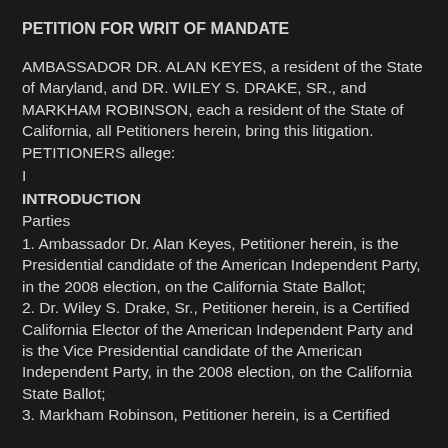PETITION FOR WRIT OF MANDATE
AMBASSADOR DR. ALAN KEYES, a resident of the State of Maryland, and DR. WILEY S. DRAKE, SR., and MARKHAM ROBINSON, each a resident of the State of California, all Petitioners herein, bring this litigation.
PETITIONERS allege:
I
INTRODUCTION
Parties
1. Ambassador Dr. Alan Keyes, Petitioner herein, is the Presidential candidate of the American Independent Party, in the 2008 election, on the California State Ballot;
2. Dr. Wiley S. Drake, Sr., Petitioner herein, is a Certified California Elector of the American Independent Party and is the Vice Presidential candidate of the American Independent Party, in the 2008 election, on the California State Ballot;
3. Markham Robinson, Petitioner herein, is a Certified